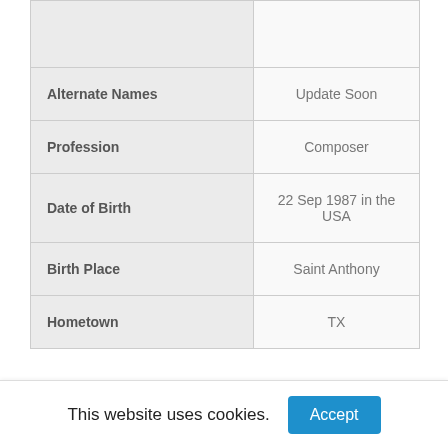| Field | Value |
| --- | --- |
|  |  |
| Alternate Names | Update Soon |
| Profession | Composer |
| Date of Birth | 22 Sep 1987 in the USA |
| Birth Place | Saint Anthony |
| Hometown | TX |
This website uses cookies. Accept